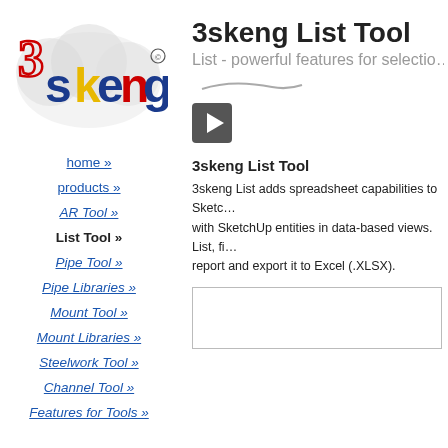[Figure (logo): 3skeng logo with stylized text and cloud/circle design in red, blue, yellow, and dark blue colors]
home »
products »
AR Tool »
List Tool »
Pipe Tool »
Pipe Libraries »
Mount Tool »
Mount Libraries »
Steelwork Tool »
Channel Tool »
Features for Tools »
3skeng List Tool
List - powerful features for selectio…
[Figure (screenshot): YouTube video thumbnail placeholder (dark square with play button)]
3skeng List Tool
3skeng List adds spreadsheet capabilities to Sketc… with SketchUp entities in data-based views. List, fi… report and export it to Excel (.XLSX).
[Figure (screenshot): Content box / embedded content area (bordered rectangle)]